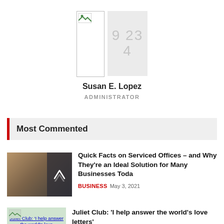[Figure (photo): Profile photo placeholder with image icon on left, gray stats box with numbers 9 23 4 on right]
Susan E. Lopez
ADMINISTRATOR
Most Commented
[Figure (photo): Conference room interior photo with dark overlay panel on right showing upward arrow]
Quick Facts on Serviced Offices – and Why They're an Ideal Solution for Many Businesses Toda
BUSINESS  May 3, 2021
[Figure (photo): Juliet Club thumbnail image with blue link text]
Juliet Club: 'I help answer the world's love letters'